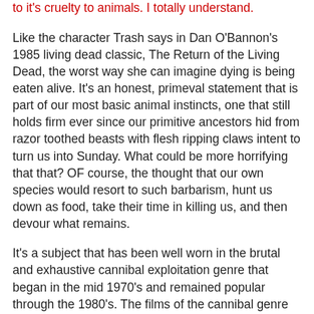to it's cruelty to animals. I totally understand.
Like the character Trash says in Dan O'Bannon's 1985 living dead classic, The Return of the Living Dead, the worst way she can imagine dying is being eaten alive. It's an honest, primeval statement that is part of our most basic animal instincts, one that still holds firm ever since our primitive ancestors hid from razor toothed beasts with flesh ripping claws intent to turn us into Sunday. What could be more horrifying that that? OF course, the thought that our own species would resort to such barbarism, hunt us down as food, take their time in killing us, and then devour what remains.
It's a subject that has been well worn in the brutal and exhaustive cannibal exploitation genre that began in the mid 1970's and remained popular through the 1980's. The films of the cannibal genre would typically involve a brutal...